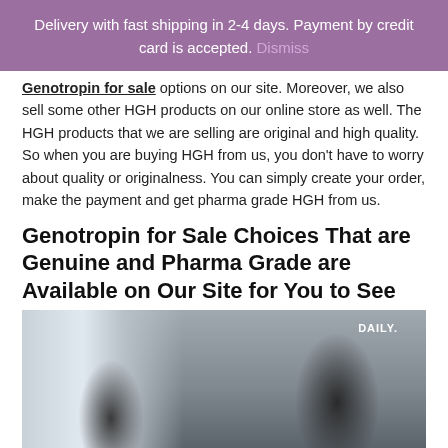Delivery with fast shipping in 2-4 days. Payment by credit card is accepted. Dismiss
Genotropin for sale options on our site. Moreover, we also sell some other HGH products on our online store as well. The HGH products that we are selling are original and high quality. So when you are buying HGH from us, you don't have to worry about quality or originalness. You can simply create your order, make the payment and get pharma grade HGH from us.
Genotropin for Sale Choices That are Genuine and Pharma Grade are Available on Our Site for You to See
[Figure (photo): Two people working out on exercise machines in a gym. A woman on the left leaning over handlebars and a man on the right in a dark shirt using a machine. DAILY text visible on the right side.]